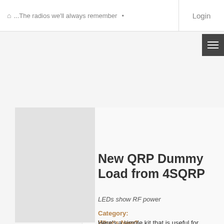...The radios we'll always remember • Login
07/22/2022
New QRP Dummy Load from 4SQRP
LEDs show RF power
Category: What's New?
Here's a simple kit that is useful for